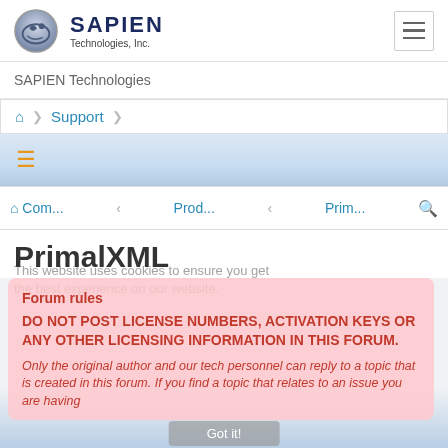SAPIEN Technologies, Inc.
SAPIEN Technologies
🏠 > Support
≡
🏠 Com... ‹ Prod... ‹ Prim... 🔍
PrimalXML
This website uses cookies to ensure you get the best experience on our website.
Forum rules
DO NOT POST LICENSE NUMBERS, ACTIVATION KEYS OR ANY OTHER LICENSING INFORMATION IN THIS FORUM.
Only the original author and our tech personnel can reply to a topic that is created in this forum. If you find a topic that relates to an issue you are having